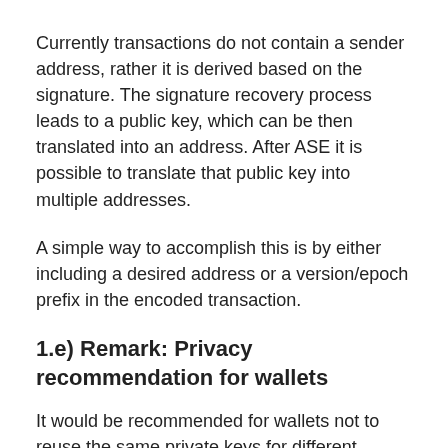Currently transactions do not contain a sender address, rather it is derived based on the signature. The signature recovery process leads to a public key, which can be then translated into an address. After ASE it is possible to translate that public key into multiple addresses.
A simple way to accomplish this is by either including a desired address or a version/epoch prefix in the encoded transaction.
1.e) Remark: Privacy recommendation for wallets
It would be recommended for wallets not to reuse the same private keys for different epochs. Similar to HD-wallet derivation paths include chain id now, it should also include an epoch number.